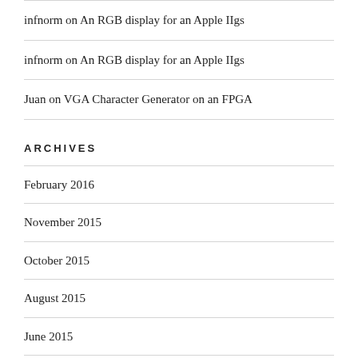infnorm on An RGB display for an Apple IIgs
infnorm on An RGB display for an Apple IIgs
Juan on VGA Character Generator on an FPGA
ARCHIVES
February 2016
November 2015
October 2015
August 2015
June 2015
January 2015